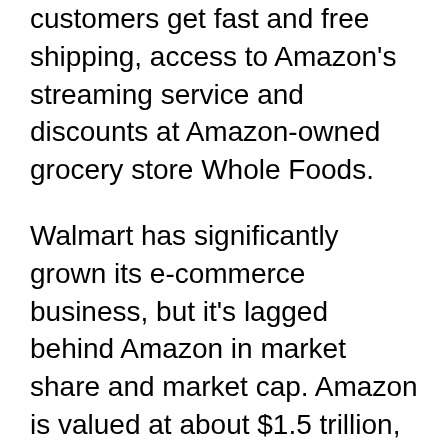customers get fast and free shipping, access to Amazon's streaming service and discounts at Amazon-owned grocery store Whole Foods.
Walmart has significantly grown its e-commerce business, but it's lagged behind Amazon in market share and market cap. Amazon is valued at about $1.5 trillion, compared with Walmart, which is valued at about $358 billion as of midafternoon Tuesday.
Walmart reported online sales growth of 37% for last year, topping its own goal of 35% growth. Its online sales surged by 74% in the fiscal first quarter that ended April 30, as the coronavirus pandemic drove more customers online for groceries and other essentials.